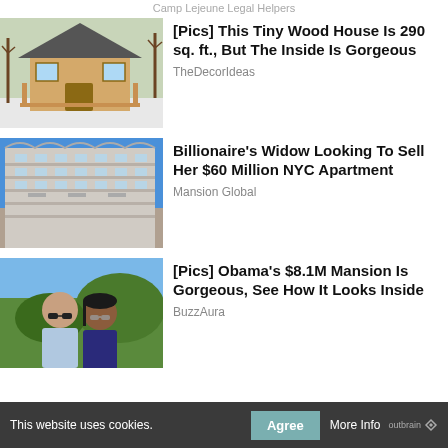Camp Lejeune Legal Helpers
[Figure (photo): A small log cabin style tiny wooden house with a porch, surrounded by bare trees in winter]
[Pics] This Tiny Wood House Is 290 sq. ft., But The Inside Is Gorgeous
TheDecorIdeas
[Figure (photo): An ornate white stone luxury apartment building in New York City against a blue sky]
Billionaire's Widow Looking To Sell Her $60 Million NYC Apartment
Mansion Global
[Figure (photo): Barack Obama and Michelle Obama wearing sunglasses outdoors with greenery in background]
[Pics] Obama's $8.1M Mansion Is Gorgeous, See How It Looks Inside
BuzzAura
This website uses cookies.  Agree  More Info